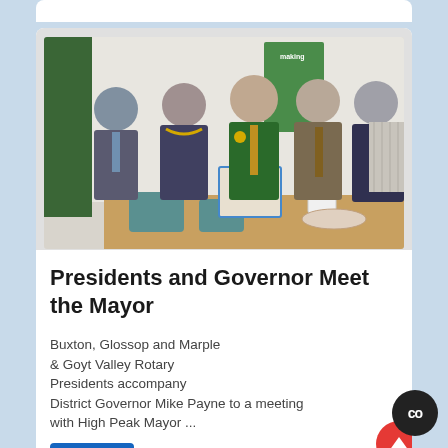[Figure (photo): Five people standing together for a group photo in an indoor meeting room. A woman in the center wears a mayoral chain. A man in a green blazer stands next to her. Others wear dark suits. A table in the foreground has a decorated cake and cups on it. A 'making' banner is visible in the background.]
Presidents and Governor Meet the Mayor
Buxton, Glossop and Marple & Goyt Valley Rotary Presidents accompany District Governor Mike Payne to a meeting with High Peak Mayor ...